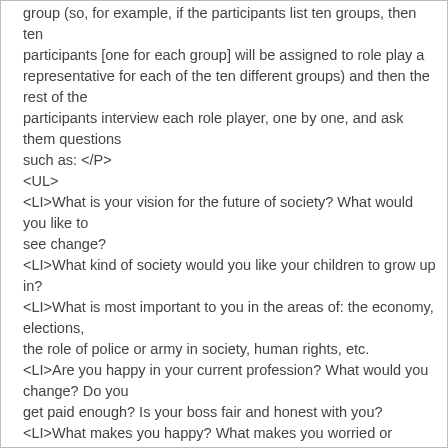group (so, for example, if the participants list ten groups, then ten participants [one for each group] will be assigned to role play a representative for each of the ten different groups) and then the rest of the participants interview each role player, one by one, and ask them questions such as: </P>
<UL>
<LI>What is your vision for the future of society? What would you like to see change?
<LI>What kind of society would you like your children to grow up in?
<LI>What is most important to you in the areas of: the economy, elections, the role of police or army in society, human rights, etc.
<LI>Are you happy in your current profession? What would you change? Do you get paid enough? Is your boss fair and honest with you?
<LI>What makes you happy? What makes you worried or unhappy?
<LI>Etc. </LI></UL>
<P>What's amazing is that when workshop participants role-play members of the